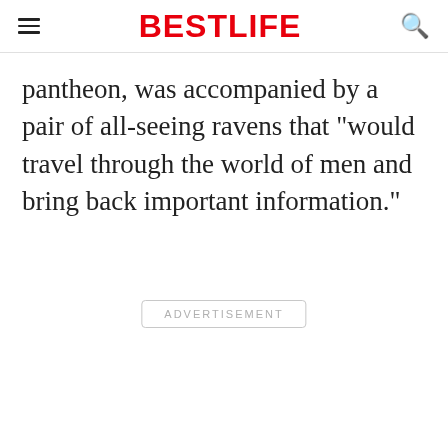BESTLIFE
pantheon, was accompanied by a pair of all-seeing ravens that "would travel through the world of men and bring back important information."
ADVERTISEMENT